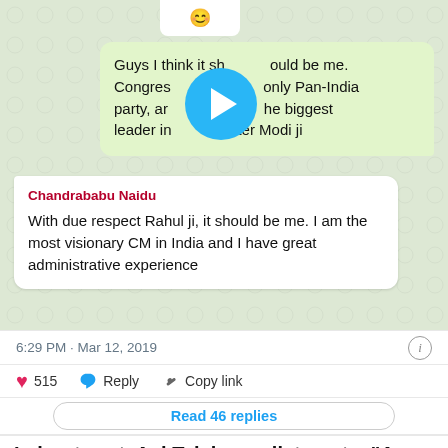[Figure (screenshot): WhatsApp chat screenshot showing two message bubbles: a green bubble (partially obscured by a blue play button overlay) reading 'Guys I think it should be me. Congress [is the] only Pan-India party, and [I am the] biggest leader in [India] after Modi ji', and a white bubble from 'Chandrababu Naidu' reading 'With due respect Rahul ji, it should be me. I am the most visionary CM in India and I have great administrative experience']
6:29 PM · Mar 12, 2019
515   Reply   Copy link
Read 46 replies
In her tweet, Aaj Tak journalist wrote, "A